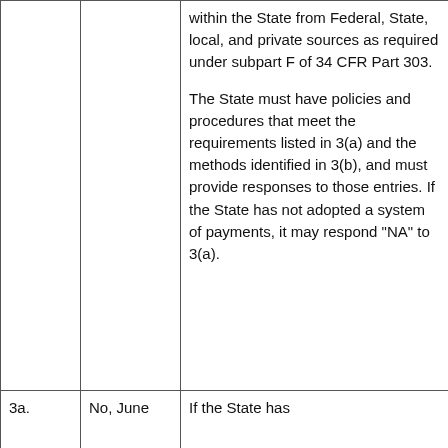|  |  | within the State from Federal, State, local, and private sources as required under subpart F of 34 CFR Part 303.

The State must have policies and procedures that meet the requirements listed in 3(a) and the methods identified in 3(b), and must provide responses to those entries. If the State has not adopted a system of payments, it may respond "NA" to 3(a). |
| 3a. | No, June | If the State has |